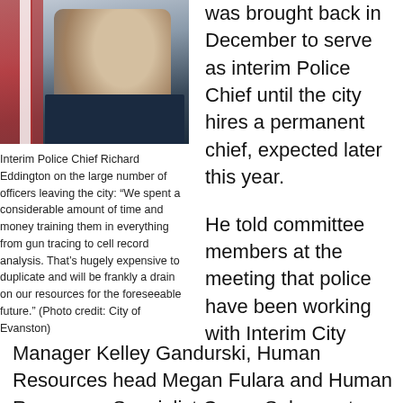[Figure (photo): Portrait photo of Interim Police Chief Richard Eddington in police uniform with badge, American flag in background]
Interim Police Chief Richard Eddington on the large number of officers leaving the city: “We spent a considerable amount of time and money training them in everything from gun tracing to cell record analysis. That’s hugely expensive to duplicate and will be frankly a drain on our resources for the foreseeable future.” (Photo credit: City of Evanston)
was brought back in December to serve as interim Police Chief until the city hires a permanent chief, expected later this year.
He told committee members at the meeting that police have been working with Interim City Manager Kelley Gandurski, Human Resources head Megan Fulara and Human Resources Specialist Casey Solomon to develop a